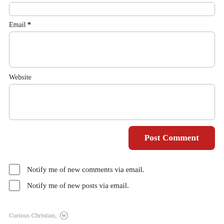Email *
Website
Post Comment
Notify me of new comments via email.
Notify me of new posts via email.
Curious Christian,